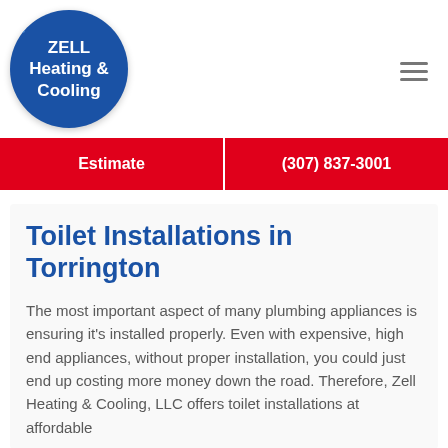[Figure (logo): Zell Heating & Cooling circular logo — blue circle with white bold text reading ZELL Heating & Cooling, with red arrows forming a cycle around the text]
Estimate | (307) 837-3001
Toilet Installations in Torrington
The most important aspect of many plumbing appliances is ensuring it's installed properly. Even with expensive, high end appliances, without proper installation, you could just end up costing more money down the road. Therefore, Zell Heating & Cooling, LLC offers toilet installations at affordable